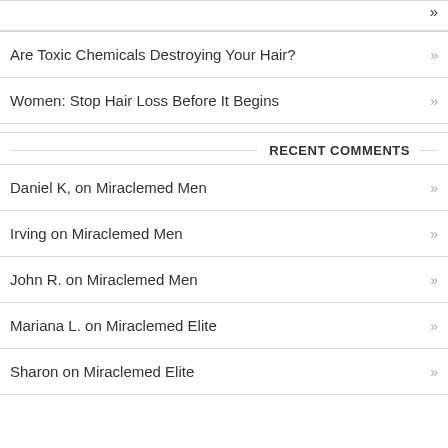Are Toxic Chemicals Destroying Your Hair?
Women: Stop Hair Loss Before It Begins
RECENT COMMENTS
Daniel K, on Miraclemed Men
Irving on Miraclemed Men
John R. on Miraclemed Men
Mariana L. on Miraclemed Elite
Sharon on Miraclemed Elite